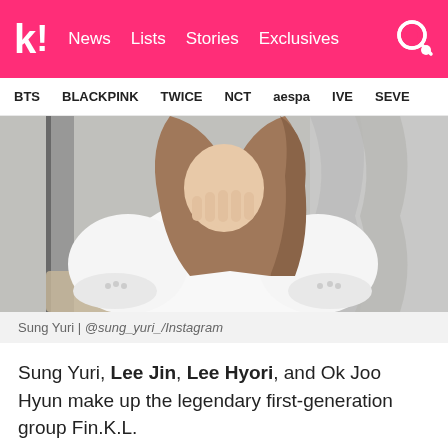k! News  Lists  Stories  Exclusives
BTS  BLACKPINK  TWICE  NCT  aespa  IVE  SEVE
[Figure (photo): Sung Yuri posing in a white puffy-sleeve blouse, hands clasped near her face, seated, with curtains in the background.]
Sung Yuri | @sung_yuri_/Instagram
Sung Yuri, Lee Jin, Lee Hyori, and Ok Joo Hyun make up the legendary first-generation group Fin.K.L.